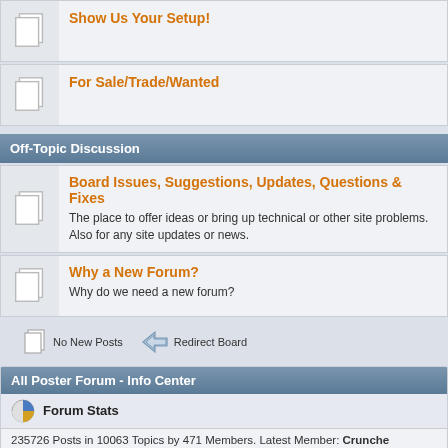Show Us Your Setup!
For Sale/Trade/Wanted
Off-Topic Discussion
Board Issues, Suggestions, Updates, Questions & Fixes - The place to offer ideas or bring up technical or other site problems. Also for any site updates or news.
Why a New Forum? - Why do we need a new forum?
No New Posts   Redirect Board
All Poster Forum - Info Center
Forum Stats
235726 Posts in 10063 Topics by 471 Members. Latest Member: Crunche